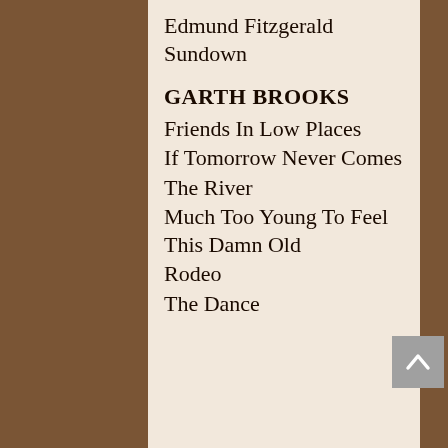Edmund Fitzgerald Sundown
GARTH BROOKS
Friends In Low Places
If Tomorrow Never Comes
The River
Much Too Young To Feel This Damn Old
Rodeo
The Dance